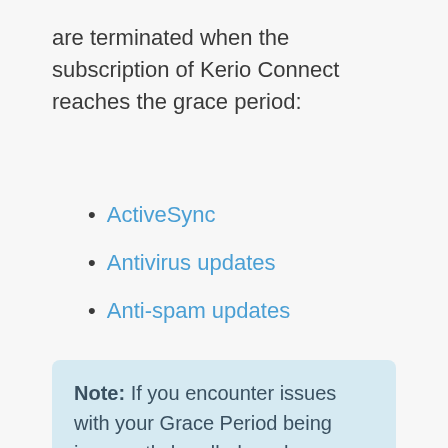are terminated when the subscription of Kerio Connect reaches the grace period:
ActiveSync
Antivirus updates
Anti-spam updates
Note: If you encounter issues with your Grace Period being incorrectly handled, such as blocking access to the Webmail or Webadmin before your 30 days has elapsed, please contact the Sales team directly at sales@gfi.com, and include